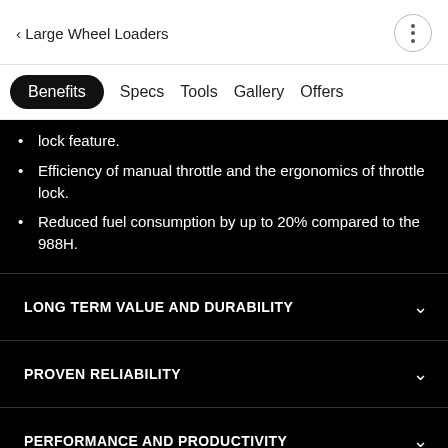< Large Wheel Loaders
Benefits  Specs  Tools  Gallery  Offers
lock feature.
Efficiency of manual throttle and the ergonomics of throttle lock.
Reduced fuel consumption by up to 20% compared to the 988H.
LONG TERM VALUE AND DURABILITY
PROVEN RELIABILITY
PERFORMANCE AND PRODUCTIVITY
OPERATOR COMFORT AND CONTROL